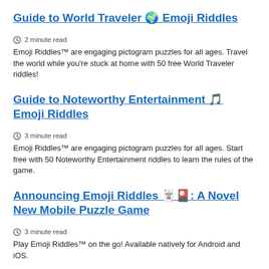Guide to World Traveler 🌍 Emoji Riddles
🕐 2 minute read
Emoji Riddles™ are engaging pictogram puzzles for all ages. Travel the world while you're stuck at home with 50 free World Traveler riddles!
Guide to Noteworthy Entertainment 🎵 Emoji Riddles
🕐 3 minute read
Emoji Riddles™ are engaging pictogram puzzles for all ages. Start free with 50 Noteworthy Entertainment riddles to learn the rules of the game.
Announcing Emoji Riddles 🃏🎴: A Novel New Mobile Puzzle Game
🕐 3 minute read
Play Emoji Riddles™ on the go! Available natively for Android and iOS.